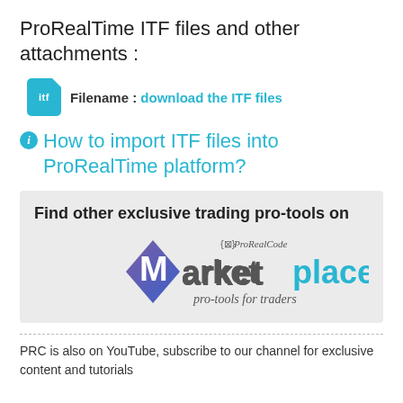ProRealTime ITF files and other attachments :
Filename : download the ITF files
How to import ITF files into ProRealTime platform?
[Figure (logo): ProRealCode Marketplace logo with text 'Find other exclusive trading pro-tools on' and marketplace logo with tagline 'pro-tools for traders']
PRC is also on YouTube, subscribe to our channel for exclusive content and tutorials